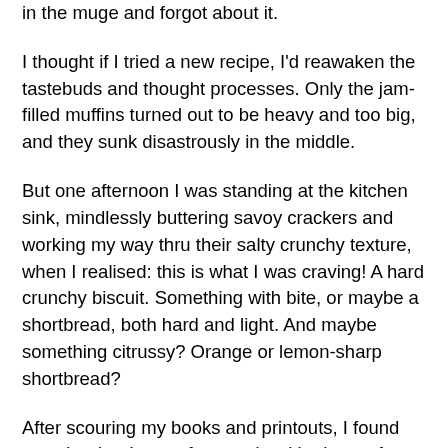in the muge and forgot about it.
I thought if I tried a new recipe, I'd reawaken the tastebuds and thought processes. Only the jam-filled muffins turned out to be heavy and too big, and they sunk disastrously in the middle.
But one afternoon I was standing at the kitchen sink, mindlessly buttering savoy crackers and working my way thru their salty crunchy texture, when I realised: this is what I was craving! A hard crunchy biscuit. Something with bite, or maybe a shortbread, both hard and light. And maybe something citrussy? Orange or lemon-sharp shortbread?
After scouring my books and printouts, I found exactly what I was after, made with plenty of orange zest and the surprise ingredient: polenta. They looked plainish, but.
While making these was a lovely process - zesting and juicing the orange, adding the polenta and kneading the slightly sticky dough - the fun really began once they were in the oven. The raw dough smelt deliciously orangey, but as it